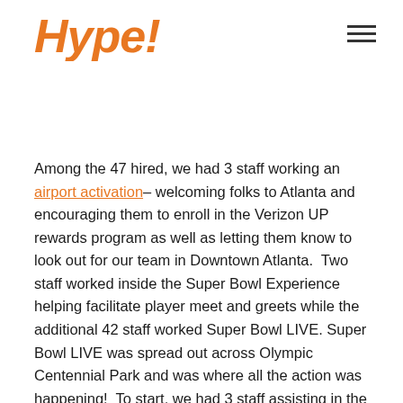Hype!
Among the 47 hired, we had 3 staff working an airport activation– welcoming folks to Atlanta and encouraging them to enroll in the Verizon UP rewards program as well as letting them know to look out for our team in Downtown Atlanta. Two staff worked inside the Super Bowl Experience helping facilitate player meet and greets while the additional 42 staff worked Super Bowl LIVE. Super Bowl LIVE was spread out across Olympic Centennial Park and was where all the action was happening! To start, we had 3 staff assisting in the Members Lane where Verizon was rewarding Verizon UP